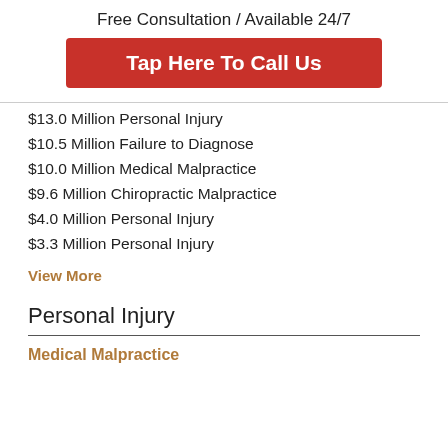Free Consultation / Available 24/7
Tap Here To Call Us
$13.0 Million Personal Injury
$10.5 Million Failure to Diagnose
$10.0 Million Medical Malpractice
$9.6 Million Chiropractic Malpractice
$4.0 Million Personal Injury
$3.3 Million Personal Injury
View More
Personal Injury
Medical Malpractice